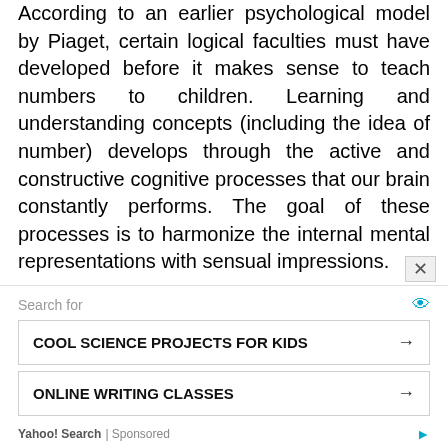According to an earlier psychological model by Piaget, certain logical faculties must have developed before it makes sense to teach numbers to children. Learning and understanding concepts (including the idea of number) develops through the active and constructive cognitive processes that our brain constantly performs. The goal of these processes is to harmonize the internal mental representations with sensual impressions.
[Figure (screenshot): Advertisement panel with close button, Yahoo Search sponsored links including 'COOL SCIENCE PROJECTS FOR KIDS' and 'ONLINE WRITING CLASSES' with arrows, and Yahoo! Search | Sponsored footer.]